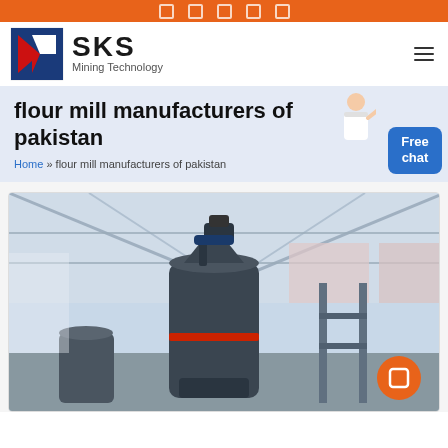SKS Mining Technology
flour mill manufacturers of pakistan
Home » flour mill manufacturers of pakistan
[Figure (photo): Industrial flour mill / grinding machine inside a large factory warehouse with steel roof structure. Large dark cylindrical vertical mill machine with red accent band, additional machinery visible in background.]